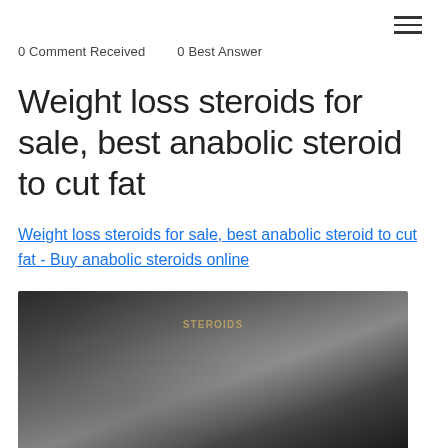☰
0 Comment Received   0 Best Answer
Weight loss steroids for sale, best anabolic steroid to cut fat
Weight loss steroids for sale, best anabolic steroid to cut fat - Buy anabolic steroids online
[Figure (photo): A dark, blurred image showing a person's physique or fitness-related scene with dark background and subtle highlights]